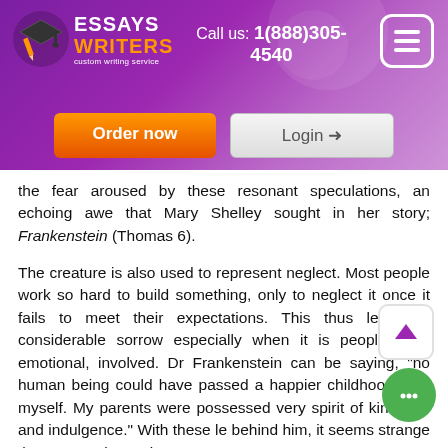[Figure (screenshot): Essays Writers custom writing service website header with logo, phone number 1(888)305-4540, hamburger menu icon, Order now button and Login button on purple gradient background]
the fear aroused by these resonant speculations, an echoing awe that Mary Shelley sought in her story; Frankenstein (Thomas 6).
The creature is also used to represent neglect. Most people work so hard to build something, only to neglect it once it fails to meet their expectations. This thus leads to considerable sorrow especially when it is people, who emotional, involved. Dr Frankenstein can be saying, "no human being could have passed a happier childhood than myself. My parents were possessed very spirit of kindness and indulgence." With these le behind him, it seems strange that Dr. Frankenstein can